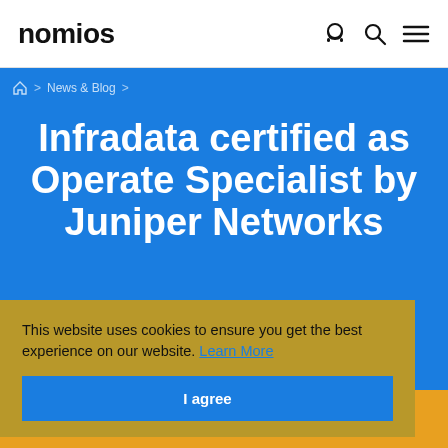nomios
🏠 > News & Blog >
Infradata certified as Operate Specialist by Juniper Networks
This website uses cookies to ensure you get the best experience on our website. Learn More
I agree
11 May 2009  ·  3 min read
Share